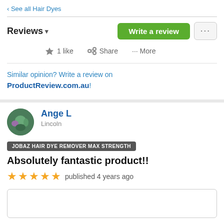< See all Hair Dyes
Reviews ▾
Write a review
1 like   Share   More
Similar opinion? Write a review on ProductReview.com.au!
Ange L
Lincoln
JOBAZ HAIR DYE REMOVER MAX STRENGTH
Absolutely fantastic product!!
★★★★★ published 4 years ago